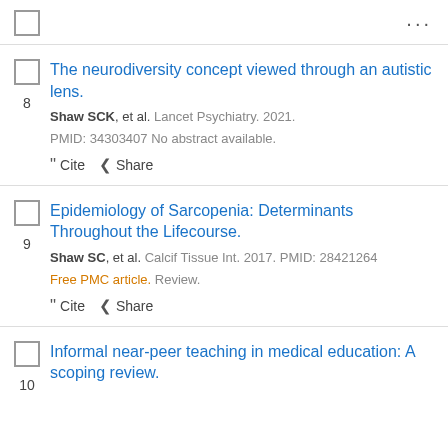8. The neurodiversity concept viewed through an autistic lens. Shaw SCK, et al. Lancet Psychiatry. 2021. PMID: 34303407 No abstract available. Cite Share
9. Epidemiology of Sarcopenia: Determinants Throughout the Lifecourse. Shaw SC, et al. Calcif Tissue Int. 2017. PMID: 28421264 Free PMC article. Review. Cite Share
10. Informal near-peer teaching in medical education: A scoping review.